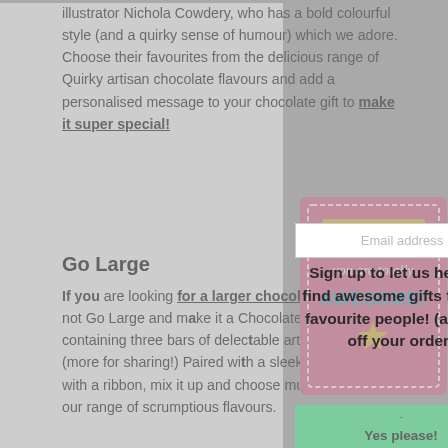illustrator Nichola Cowdery, who has a bold colourful style (and a quirky sense of humour) which we adore. Choose their favourites from the delicious range of Quirky artisan chocolate flavours and add a personalised message to your chocolate gift to make it super special!
[Figure (illustration): Pink chocolate bar wrapper with decorative border, text reading 'GUESS WHAT you are totally AWESOME!' with a star]
Go Large
If you are looking for a larger chocolate gift why not Go Large and make it a Chocolate Gift Set containing three bars of delectable artisan chocolate (more for sharing!) Paired with a sleek black box tied with a ribbon, mix it up and choose multiple bars from our range of scrumptious flavours.
Shop Local
Quirky has joined forces with brilliant London-based designer and illustrator Nichola Cowdery to bring you her fabulous artwork in chocolate form. Nichola Cowdery LOVES creating cute, weird and wonderful designs for the special people in
[Figure (screenshot): Email signup overlay modal with text: Sign up to let us help you find awesome gifts for your favourite people! (and 10% off your order!), an email address input field, and a teal 'Yes please!' button]